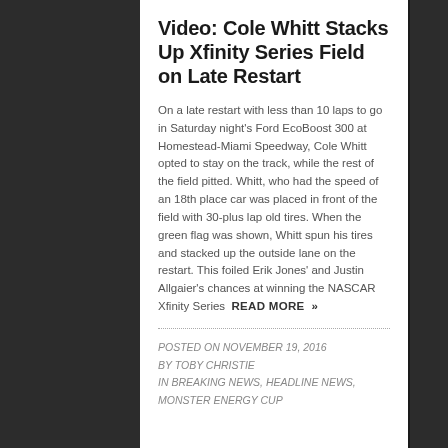Video: Cole Whitt Stacks Up Xfinity Series Field on Late Restart
On a late restart with less than 10 laps to go in Saturday night's Ford EcoBoost 300 at Homestead-Miami Speedway, Cole Whitt opted to stay on the track, while the rest of the field pitted. Whitt, who had the speed of an 18th place car was placed in front of the field with 30-plus lap old tires. When the green flag was shown, Whitt spun his tires and stacked up the outside lane on the restart. This foiled Erik Jones' and Justin Allgaier's chances at winning the NASCAR Xfinity Series  READ MORE  »
POSTED ON NOVEMBER 19, 2016
BY TOBY CHRISTIE
IN BREAKING NEWS, HEADLINE NEWS, MONSTER ENERGY CUP